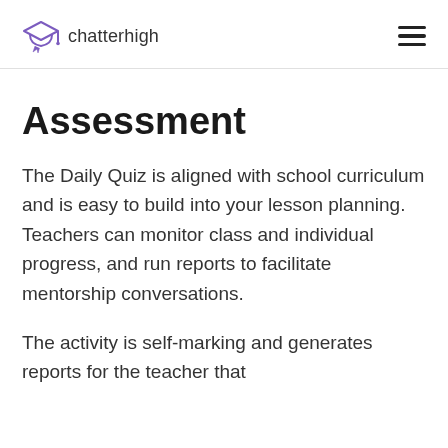chatterhigh
Assessment
The Daily Quiz is aligned with school curriculum and is easy to build into your lesson planning. Teachers can monitor class and individual progress, and run reports to facilitate mentorship conversations.
The activity is self-marking and generates reports for the teacher that